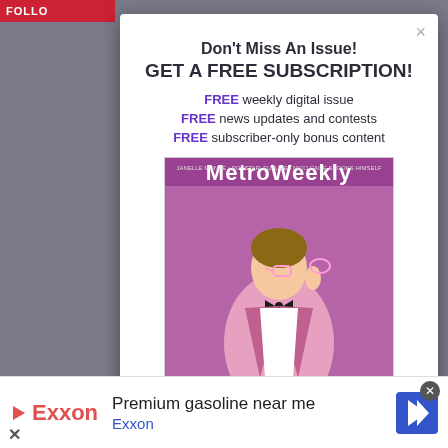[Figure (screenshot): Screenshot of a website with a modal subscription popup overlay for Metro Weekly magazine, showing a 'Don't Miss An Issue! GET A FREE SUBSCRIPTION!' dialog with a magazine cover image, over a gray background with a dark sidebar. Bottom shows an Exxon advertisement banner.]
Don't Miss An Issue!
GET A FREE SUBSCRIPTION!
FREE weekly digital issue
FREE news updates and contests
FREE subscriber-only bonus content
Premium gasoline near me
Exxon